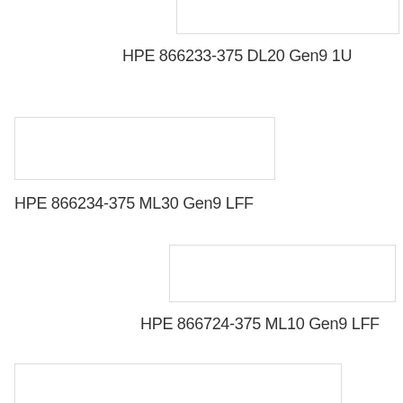[Figure (photo): Image box at top right, partially visible]
HPE 866233-375 DL20 Gen9 1U
[Figure (photo): Image box middle left]
HPE 866234-375 ML30 Gen9 LFF
[Figure (photo): Image box middle right]
HPE 866724-375 ML10 Gen9 LFF
[Figure (photo): Image box bottom left, partially visible]